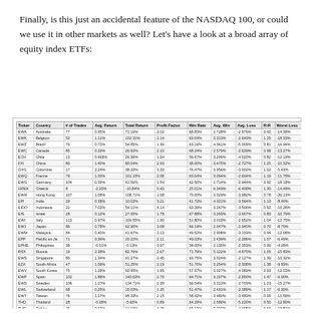Finally, is this just an accidental feature of the NASDAQ 100, or could we use it in other markets as well? Let’s have a look at a broad array of equity index ETFs:
| Ticker | Country | # of Trades | Avg. Return | Total Return | Profit Factor | Win Rate | Avg. Win | Avg. Loss | R:R | Worst Loss |
| --- | --- | --- | --- | --- | --- | --- | --- | --- | --- | --- |
| EWA | Australia | 77 | 0.95% | 71.16% | 2.02 | 68.83% | 2.728% | -2.976% | 0.92 | -14.38% |
| EWK | Belgium | 52 | 1.11% | 102.31% | 2.14 | 63.04% | 3.313% | -2.643% | 1.25 | -18.33% |
| EWZ | Brazil | 76 | 0.72% | 54.85% | 1.39 | 63.16% | 4.061% | -5.003% | 0.81 | -16.94% |
| EWC | Canada | 85 | 0.32% | 26.92% | 2.10 | 68.24% | 2.579% | -2.639% | 0.98 | -13.27% |
| ECH | Chile | 13 | 0.668% | 26.36% | 1.64 | 56.67% | 3.299% | -4.020% | 0.82 | -12.19% |
| FXI | China | 80 | 1.40% | 80.04% | 2.93 | 38.00% | 3.475% | -2.727% | 1.25 | -10.32% |
| GXG | Colombia | 17 | 2.24% | 38.33% | 3.33 | 76.47% | 3.956% | -3.902% | 1.02 | -5.43% |
| EWQ | France | 79 | 1.00% | 101.15% | 2.08 | 63.64% | 3.094% | -2.604% | 1.19 | -11.78% |
| EWG | Germany | 104 | 0.39% | 41.56% | 1.54 | 62.50% | 2.714% | -2.944% | 0.92 | -18.18% |
| GREK | Greece | 8 | -2.20% | -10.84% | 0.43 | 25.01% | 6.349% | -6.408% | 1.30 | -14.49% |
| EWH | Hong Kong | 107 | 1.08% | 108.71% | 1.08 | 75.00% | 3.029% | -3.982% | 0.78 | -26.13% |
| EPI | India | 29 | 0.38% | 10.02% | 3.21 | 41.72% | 4.021% | -3.564% | 1.13 | -8.40% |
| EIDO | Indonesia | 22 | 7.02% | 54.11% | 4.14 | 63.39% | 3.267% | -3.506% | 0.92 | -10.28% |
| EIS | Israel | 28 | 0.12% | 27.00% | 1.78 | 67.88% | 3.293% | -3.907% | 0.83 | -10.79% |
| EWI | Italy | 113 | 0.97% | 109.55% | 1.90 | 51.80% | 3.018% | -2.952% | 1.04 | -12.75% |
| EWJ | Japan | 86 | 0.78% | 62.90% | 3.08 | 66.19% | 2.047% | -2.940% | 0.70 | -8.70% |
| EWM | Malaysia | 84 | 0.40% | 41.67% | 3.13 | 49.52% | 2.908% | -3.153% | 0.94 | -12.08% |
| EPP | Pacific ex-Ja | 71 | 0.39% | 20.10% | 2.11 | 49.03% | 2.439% | -2.286% | 1.07 | -6.49% |
| EPHE | Philippines | 38 | -0.01% | -0.13% | 0.97 | 58.00% | 2.130% | -2.353% | 0.99 | -4.28% |
| RSX | Russia | 19 | 2.38% | 82.76% | 2.67 | 71.79% | 5.122% | -4.875% | 1.05 | -15.83% |
| EWS | Singapore | 80 | 1.34% | 91.27% | 2.45 | 63.75% | 3.024% | -2.127% | 1.39 | -10.32% |
| EZA | South Africa | 47 | 1.09% | 51.25% | 2.19 | 51.70% | 3.254% | -2.308% | 1.38 | -9.83% |
| EWY | South Korea | 70 | 1.28% | 92.95% | 1.95 | 57.57% | 3.027% | -4.089% | 0.93 | -12.03% |
| EWP | Spain | 102 | 1.88% | 140.63% | 2.70 | 64.71% | 3.167% | -2.800% | 1.47 | -9.90% |
| EWD | Sweden | 106 | 1.27% | 134.71% | 2.39 | 66.04% | 3.313% | -2.703% | 1.23 | -15.27% |
| EWL | Switzerland | 68 | 0.25% | 15.03% | 1.25 | 51.47% | 2.431% | -2.089% | 1.17 | -6.30% |
| EWT | Taiwan | 76 | 1.27% | 95.33% | 2.15 | 58.42% | 3.480% | -3.483% | 0.99 | -11.58% |
| THD | Thailand | 28 | -0.28% | -5.65% | 0.89 | 64.29% | 2.586% | -5.220% | 0.50 | -12.80% |
| TUR | Turkey | 26 | 0.43% | 11.19% | 1.25 | 65.10% | 3.303% | -4.995% | 0.66 | -10.83% |
| EWU | U.K. | 83 | 1.10% | 91.02% | 2.69 | 71.08% | 2.454% | -2.241% | 1.10 | -6.18% |
| QQQ | U.S. | 51 | 1.52% | 138.02% | 2.56 | 78.33% | 3.554% | -3.291% | 1.08 | -17.89% |
| SPY | U.S. | 113 | 0.81% | 91.55% | 2.21 | 69.91% | 2.120% | -2.233% | 0.95 | -11.01% |